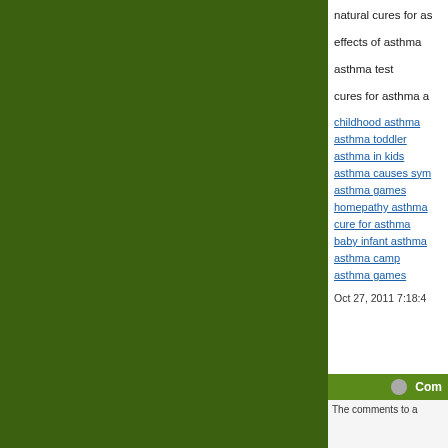natural cures for as
effects of asthma
asthma test
cures for asthma a
childhood asthma
asthma toddler
asthma in kids
asthma causes sy
asthma games
homepathy asthma
cure for asthma
baby infant asthma
asthma camp
asthma games
Oct 27, 2011 7:18:4
Com
The comments to a